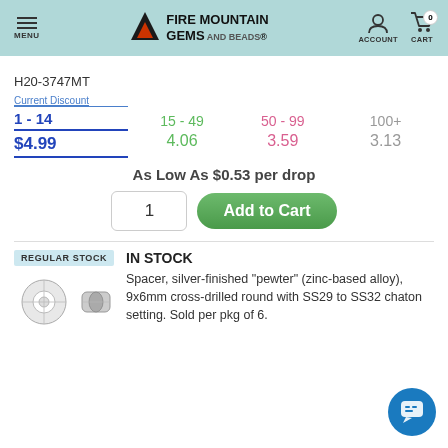Fire Mountain Gems and Beads – MENU | ACCOUNT | CART 0
H20-3747MT
| 1 - 14 | 15 - 49 | 50 - 99 | 100+ |
| --- | --- | --- | --- |
| $4.99 | 4.06 | 3.59 | 3.13 |
As Low As $0.53 per drop
REGULAR STOCK
IN STOCK
Spacer, silver-finished "pewter" (zinc-based alloy), 9x6mm cross-drilled round with SS29 to SS32 chaton setting. Sold per pkg of 6.